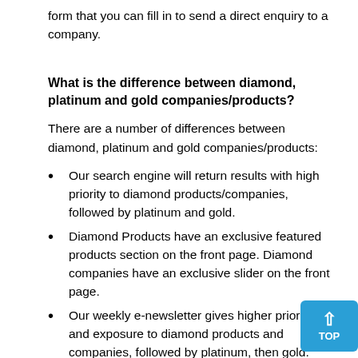form that you can fill in to send a direct enquiry to a company.
What is the difference between diamond, platinum and gold companies/products?
There are a number of differences between diamond, platinum and gold companies/products:
Our search engine will return results with high priority to diamond products/companies, followed by platinum and gold.
Diamond Products have an exclusive featured products section on the front page. Diamond companies have an exclusive slider on the front page.
Our weekly e-newsletter gives higher priority and exposure to diamond products and companies, followed by platinum, then gold.